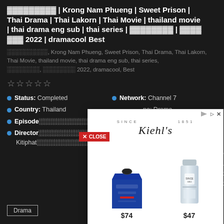░░░░░░░░░ | Krong Nam Phueng | Sweet Prison | Thai Drama | Thai Lakorn | Thai Movie | thailand movie | thai drama eng sub | thai series | ░░░░░░░░ | ░░░░░░░ 2022 | dramacool Best
░░░░░░░░░░, Krong Nam Phueng, Sweet Prison, Thai Drama, Thai Lakorn, Thai Movie, thailand movie, thai drama eng sub, thai series, ░░░░░░░░, ░░░░░░░░ 2022, dramacool, Best
☆☆☆☆☆
Status: Completed | Network: Channel 7 | Country: Thailand | Type: Drama | Episode: ... | Director: ... Kitiphat...
[Figure (advertisement): Kiehl's advertisement overlay showing two skincare products - a blue pouch ($74) and a white bottle ($47) - with Kiehl's script logo and 'SINCE 1851']
Drama